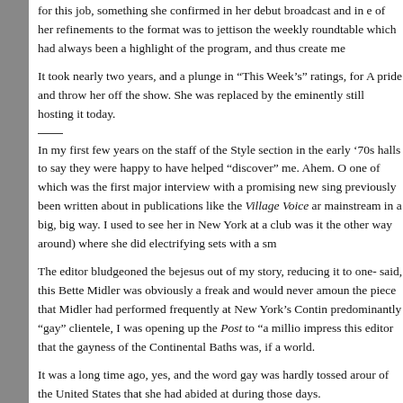for this job, something she confirmed in her debut broadcast and in e of her refinements to the format was to jettison the weekly roundtable which had always been a highlight of the program, and thus create me
It took nearly two years, and a plunge in “This Week’s” ratings, for A pride and throw her off the show. She was replaced by the eminently still hosting it today.
In my first few years on the staff of the Style section in the early ’70s halls to say they were happy to have helped “discover” me. Ahem. On one of which was the first major interview with a promising new sing previously been written about in publications like the Village Voice ar mainstream in a big, big way. I used to see her in New York at a club was it the other way around) where she did electrifying sets with a sm
The editor bludgeoned the bejesus out of my story, reducing it to one- said, this Bette Midler was obviously a freak and would never amoun the piece that Midler had performed frequently at New York’s Contin predominantly “gay” clientele, I was opening up the Post to “a millio impress this editor that the gayness of the Continental Baths was, if a world.
It was a long time ago, yes, and the word gay was hardly tossed arour of the United States that she had abided at during those days.